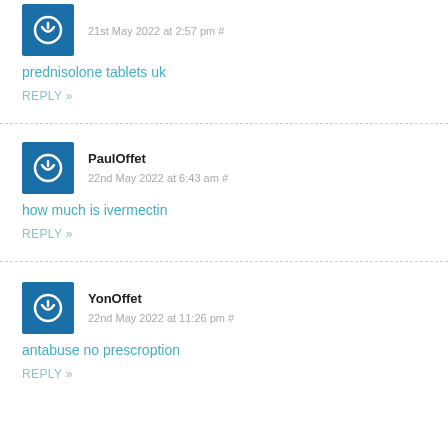21st May 2022 at 2:57 pm #
prednisolone tablets uk
REPLY »
PaulOffet
22nd May 2022 at 6:43 am #
how much is ivermectin
REPLY »
YonOffet
22nd May 2022 at 11:26 pm #
antabuse no prescroption
REPLY »